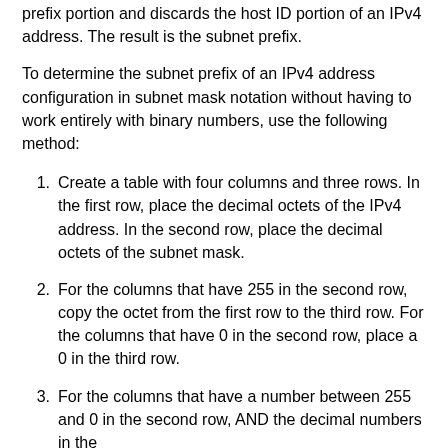prefix portion and discards the host ID portion of an IPv4 address. The result is the subnet prefix.
To determine the subnet prefix of an IPv4 address configuration in subnet mask notation without having to work entirely with binary numbers, use the following method:
1. Create a table with four columns and three rows. In the first row, place the decimal octets of the IPv4 address. In the second row, place the decimal octets of the subnet mask.
2. For the columns that have 255 in the second row, copy the octet from the first row to the third row. For the columns that have 0 in the second row, place a 0 in the third row.
3. For the columns that have a number between 255 and 0 in the second row, AND the decimal numbers in the